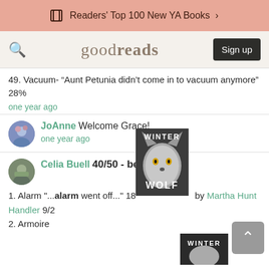Readers' Top 100 New YA Books >
[Figure (screenshot): Goodreads navigation bar with search icon, logo, and Sign up button]
49. Vacuum- “Aunt Petunia didn’t come in to vacuum anymore” 28%
one year ago
JoAnne Welcome Grace!
one year ago
Celia Buell 40/50 - bedding
1. Alarm "...alarm went off..." 18 by Martha Hunt Handler 9/2
2. Armoire